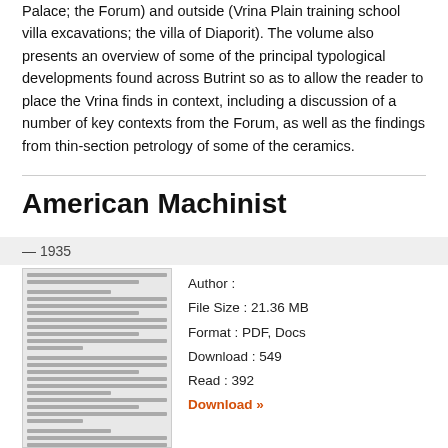Palace; the Forum) and outside (Vrina Plain training school villa excavations; the villa of Diaporit). The volume also presents an overview of some of the principal typological developments found across Butrint so as to allow the reader to place the Vrina finds in context, including a discussion of a number of key contexts from the Forum, as well as the findings from thin-section petrology of some of the ceramics.
American Machinist
— 1935
[Figure (other): Thumbnail image of the American Machinist document cover page showing text content and layout of the publication.]
Author : 
File Size : 21.36 MB
Format : PDF, Docs
Download : 549
Read : 392
Download »